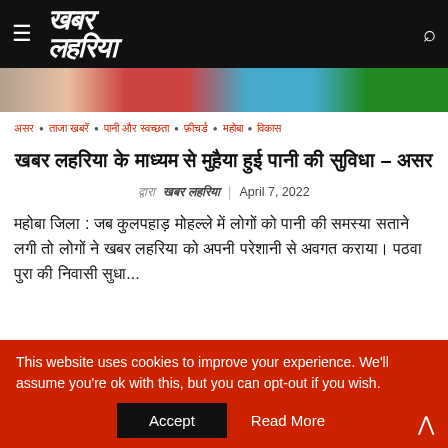☰ खबर लहरिया [logo]
[Figure (photo): Colorful plastic buckets or containers in red, blue, green colors cropped at the top]
असर • ताजा खबरें • पानी और स्वच्छता • फ़ीचर्ड • महोबा • विकास
खबर लहरिया के माध्यम से मुहैया हुई पानी की सुविधा – असर
द्वारा खबर लहरिया | April 7, 2022
महोबा जिला : जब कुलपहाड़ मोहल्ले में लोगों को पानी की समस्या सताने लगी तो लोगों ने खबर लहरिया को अपनी परेशानी से अवगत कराया। पठवा पुरा की निवासी सुधा...
This website uses cookies to improve your experience. We'll assume you're ok with this, but you can opt-out if you wish.